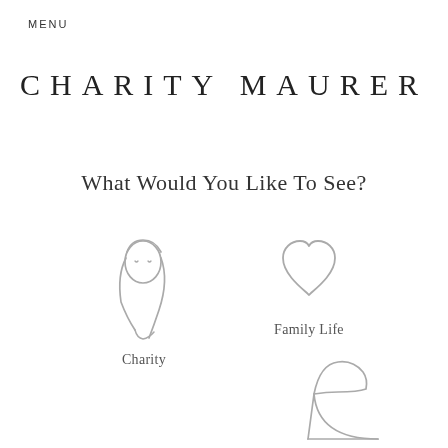MENU
CHARITY MAURER
What Would You Like To See?
[Figure (illustration): Line drawing icon of a woman's face and hair (portrait silhouette)]
Charity
[Figure (illustration): Line drawing icon of a heart shape]
Family Life
[Figure (illustration): Line drawing icon of a high-heel shoe (stiletto)]